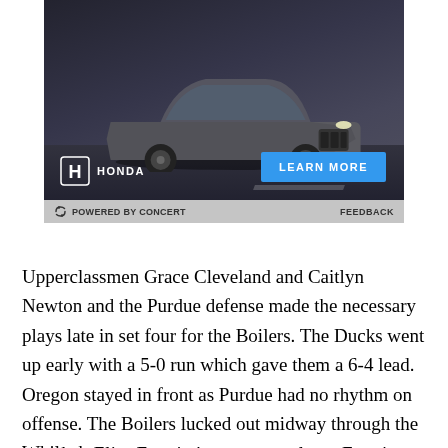[Figure (photo): Honda SUV advertisement showing a gray Honda crossover SUV on a dark road at night, with Honda logo, 'LEARN MORE' blue button, and 'POWERED BY CONCERT / FEEDBACK' bar at the bottom]
Upperclassmen Grace Cleveland and Caitlyn Newton and the Purdue defense made the necessary plays late in set four for the Boilers. The Ducks went up early with a 5-0 run which gave them a 6-4 lead. Oregon stayed in front as Purdue had no rhythm on offense. The Boilers lucked out midway through the set when Elise Ferreira's serve went long. Ferreira had found success all match long reeling off points for the Ducks.
While the ...